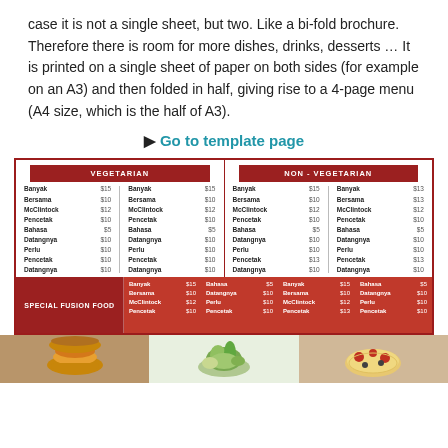case it is not a single sheet, but two. Like a bi-fold brochure. Therefore there is room for more dishes, drinks, desserts … It is printed on a single sheet of paper on both sides (for example on an A3) and then folded in half, giving rise to a 4-page menu (A4 size, which is the half of A3).
▶ Go to template page
[Figure (other): Restaurant menu image showing a VEGETARIAN section and NON-VEGETARIAN section with food items and prices, plus a SPECIAL FUSION FOOD section at the bottom, and food photos at the very bottom.]